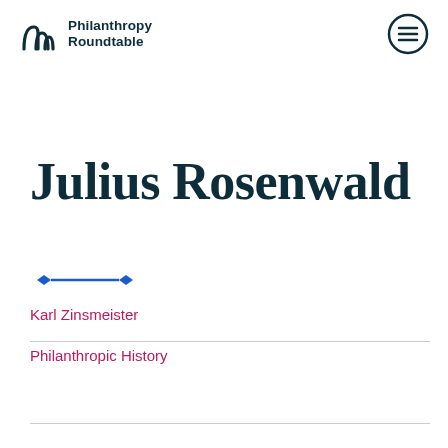Philanthropy Roundtable
Julius Rosenwald
Karl Zinsmeister
Philanthropic History